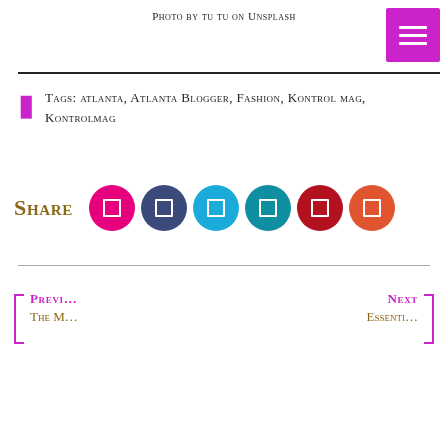Photo by tu tu on Unsplash
TAGS: atlanta, ATLANTA BLOGGER, Fashion, Kontrol mag, Kontrolmag
Share
PREVI... The M...
NEXT Essenti...